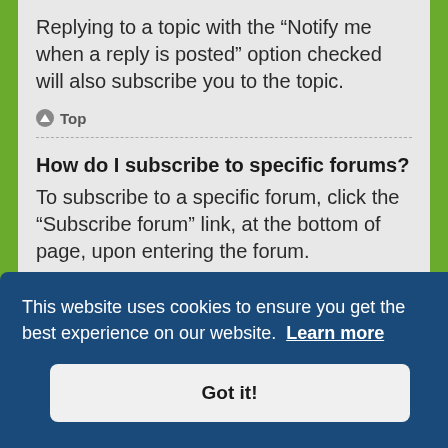Replying to a topic with the “Notify me when a reply is posted” option checked will also subscribe you to the topic.
Top
How do I subscribe to specific forums?
To subscribe to a specific forum, click the “Subscribe forum” link, at the bottom of page, upon entering the forum.
This website uses cookies to ensure you get the best experience on our website. Learn more
Got it!
ser
subscriptions.